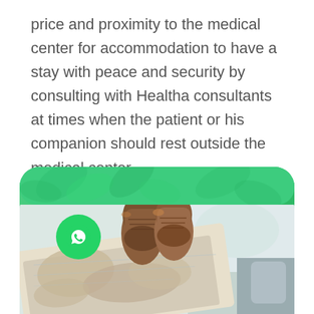price and proximity to the medical center for accommodation to have a stay with peace and security by consulting with Healtha consultants at times when the patient or his companion should rest outside the medical center.
[Figure (photo): A photo card with green rounded top header and a travel/medical tourism scene showing a person's boots resting on a car dashboard with a world map being held, and a WhatsApp button overlay in the bottom-left corner.]